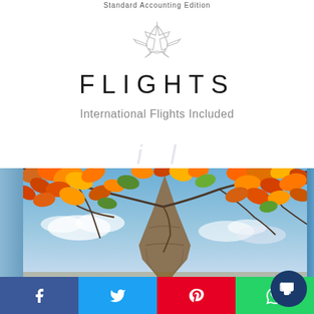Standard Accounting Edition
[Figure (illustration): Airplane/flight icon outline drawing]
FLIGHTS
International Flights Included
[Figure (photo): Photo of Eiffel Tower from below with colorful autumn leaves framing the top of the image and blue sky with clouds in background]
[Figure (infographic): Social media sharing bar at bottom with Facebook (blue), Twitter (light blue), Pinterest (red), WhatsApp (green) icons, and a dark blue chat button in the bottom right corner]